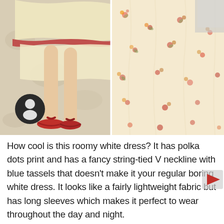[Figure (photo): Two-panel photo showing a woman wearing a floral/patterned light yellow-cream dress with red trim. Left panel shows legs and red flip-flop sandals on a textured floor with a dark avatar badge overlay. Right panel shows a close-up of the floral printed fabric of the dress.]
How cool is this roomy white dress? It has polka dots print and has a fancy string-tied V neckline with blue tassels that doesn't make it your regular boring white dress. It looks like a fairly lightweight fabric but has long sleeves which makes it perfect to wear throughout the day and night.